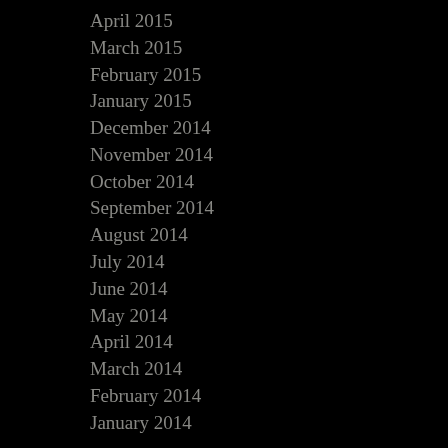April 2015
March 2015
February 2015
January 2015
December 2014
November 2014
October 2014
September 2014
August 2014
July 2014
June 2014
May 2014
April 2014
March 2014
February 2014
January 2014
CATEGORIES